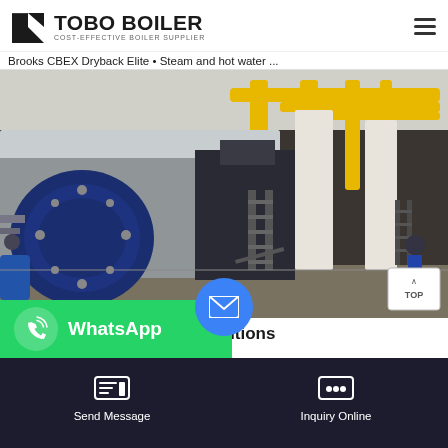TOBO BOILER — COST-EFFECTIVE BOILER SUPPLIER
Brooks CBEX Dryback Elite • Steam and hot water ...
[Figure (photo): Industrial boiler room showing large horizontal steam boilers with blue circular front panels, metal staircases, and overhead yellow piping in a white-interior facility.]
Complete Boiler Room Solutions
Brooks co... businesses...
WhatsApp
Send Message
Inquiry Online